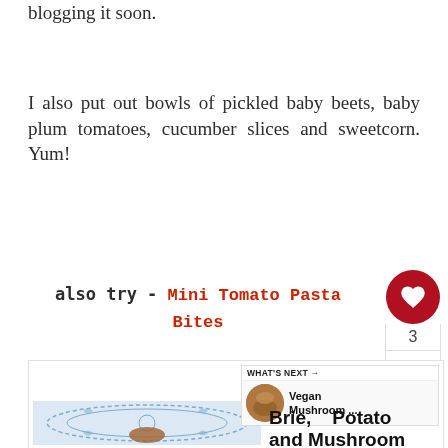blogging it soon.
I also put out bowls of pickled baby beets, baby plum tomatoes, cucumber slices and sweetcorn. Yum!
also try - Mini Tomato Pasta Bites
[Figure (screenshot): Social widget with heart/like button showing count 3 and share button]
[Figure (screenshot): Recipe card area with print recipe link, plate image, What's Next card showing Vegan Mushroom..., and Brie, Potato and Mushroom text]